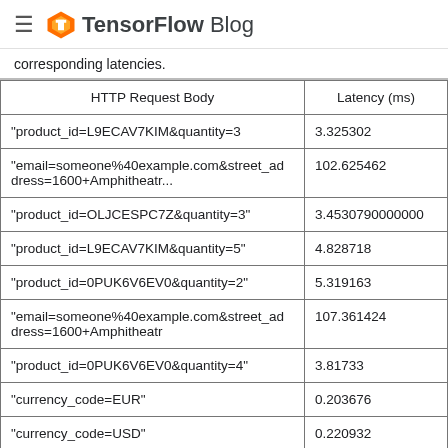TensorFlow Blog
corresponding latencies.
| HTTP Request Body | Latency (ms) |
| --- | --- |
| "product_id=L9ECAV7KIM&quantity=3 | 3.325302 |
| "email=someone%40example.com&street_address=1600+Amphitheatr... | 102.625462 |
| "product_id=OLJCESPC7Z&quantity=3" | 3.4530790000000 |
| "product_id=L9ECAV7KIM&quantity=5" | 4.828718 |
| "product_id=0PUK6V6EV0&quantity=2" | 5.319163 |
| "email=someone%40example.com&street_address=1600+Amphitheatr | 107.361424 |
| "product_id=0PUK6V6EV0&quantity=4" | 3.81733 |
| "currency_code=EUR" | 0.203676 |
| "currency_code=USD" | 0.220932 |